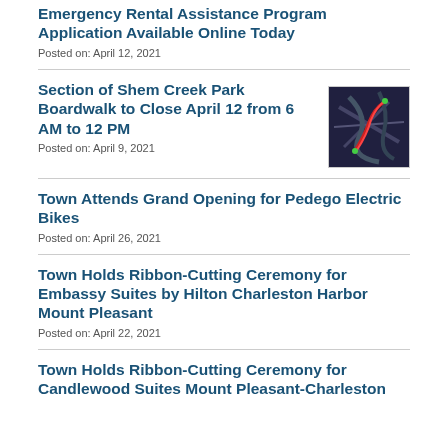Emergency Rental Assistance Program Application Available Online Today
Posted on: April 12, 2021
Section of Shem Creek Park Boardwalk to Close April 12 from 6 AM to 12 PM
Posted on: April 9, 2021
[Figure (photo): Aerial map view showing Shem Creek Park boardwalk area with red highlighted route]
Town Attends Grand Opening for Pedego Electric Bikes
Posted on: April 26, 2021
Town Holds Ribbon-Cutting Ceremony for Embassy Suites by Hilton Charleston Harbor Mount Pleasant
Posted on: April 22, 2021
Town Holds Ribbon-Cutting Ceremony for Candlewood Suites Mount Pleasant-Charleston